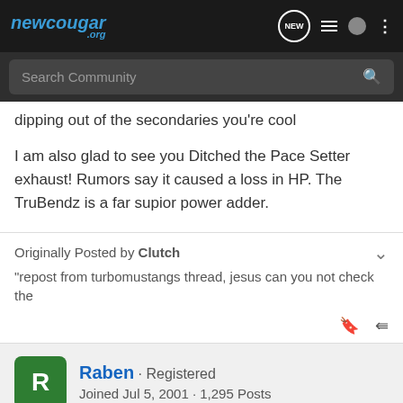newcougar.org
dipping out of the secondaries you're cool
I am also glad to see you Ditched the Pace Setter exhaust! Rumors say it caused a loss in HP. The TruBendz is a far supior power adder.
Originally Posted by Clutch
"repost from turbomustangs thread, jesus can you not check the
Raben · Registered
Joined Jul 5, 2001 · 1,295 Posts
#15 · Jan 21, 2004